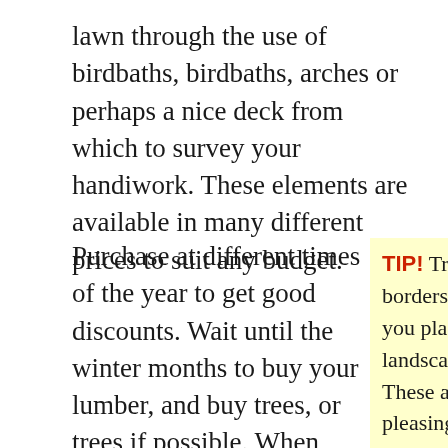lawn through the use of birdbaths, birdbaths, arches or perhaps a nice deck from which to survey your handiwork. These elements are available in many different prices to suit any budget.
Purchase at different times of the year to get good discounts. Wait until the winter months to buy your lumber, and buy trees, or trees if possible. When newer plants arrive on market, wait several years before purchasing them so that the price is not so high.
TIP! Try using curved borders around what you plant when you're landscaping the yard. These are more pleasing to the eye than square, blocked beds.